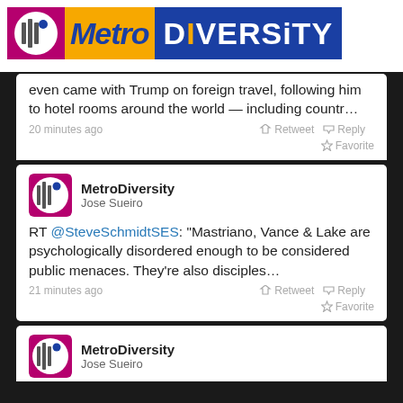[Figure (logo): Metro Diversity logo with purple left section, orange center with Metro text, and blue right section with DIVERSITY text]
[Figure (screenshot): Screenshot of Twitter/social media feed showing MetroDiversity tweets. First tweet (partial): 'even came with Trump on foreign travel, following him to hotel rooms around the world — including countr…' posted 20 minutes ago with Retweet, Reply, Favorite actions. Second tweet: RT @SteveSchmidtSES: 'Mastriano, Vance & Lake are psychologically disordered enough to be considered public menaces. They're also disciples…' posted 21 minutes ago. Third tweet (partial): MetroDiversity / Jose Sueiro header visible.]